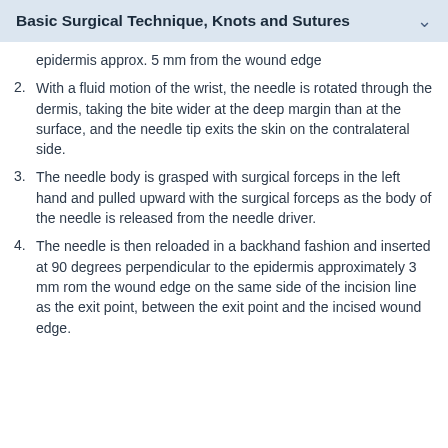Basic Surgical Technique, Knots and Sutures
epidermis approx. 5 mm from the wound edge
2. With a fluid motion of the wrist, the needle is rotated through the dermis, taking the bite wider at the deep margin than at the surface, and the needle tip exits the skin on the contralateral side.
3. The needle body is grasped with surgical forceps in the left hand and pulled upward with the surgical forceps as the body of the needle is released from the needle driver.
4. The needle is then reloaded in a backhand fashion and inserted at 90 degrees perpendicular to the epidermis approximately 3 mm rom the wound edge on the same side of the incision line as the exit point, between the exit point and the incised wound edge.